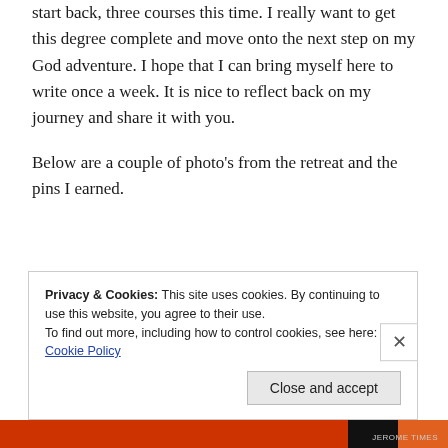start back, three courses this time. I really want to get this degree complete and move onto the next step on my God adventure. I hope that I can bring myself here to write once a week. It is nice to reflect back on my journey and share it with you.
Below are a couple of photo's from the retreat and the pins I earned.
Privacy & Cookies: This site uses cookies. By continuing to use this website, you agree to their use.
To find out more, including how to control cookies, see here: Cookie Policy